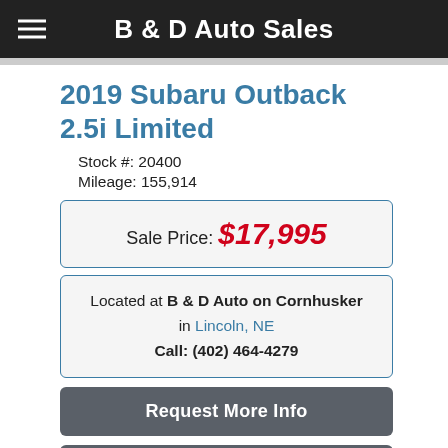B & D Auto Sales
2019 Subaru Outback 2.5i Limited
Stock #: 20400
Mileage: 155,914
Sale Price: $17,995
Located at B & D Auto on Cornhusker in Lincoln, NE
Call: (402) 464-4279
Request More Info
Schedule Test Drive